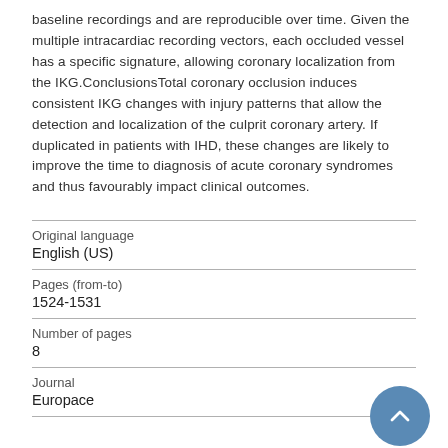baseline recordings and are reproducible over time. Given the multiple intracardiac recording vectors, each occluded vessel has a specific signature, allowing coronary localization from the IKG.ConclusionsTotal coronary occlusion induces consistent IKG changes with injury patterns that allow the detection and localization of the culprit coronary artery. If duplicated in patients with IHD, these changes are likely to improve the time to diagnosis of acute coronary syndromes and thus favourably impact clinical outcomes.
| Original language | English (US) |
| Pages (from-to) | 1524-1531 |
| Number of pages | 8 |
| Journal | Europace |